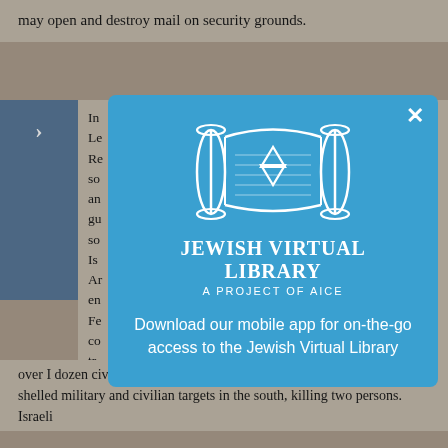may open and destroy mail on security grounds.
In ... of ... Leh ... cil Re ... m so ... re an ... ah gu ... in so ... al. Is ... h, Ar ... es en ... on Fe ... el co ... r tr ... ng over I dozen civilians. In retaliation for Hezbollah attacks in May, Israel shelled military and civilian targets in the south, killing two persons. Israeli
[Figure (logo): Jewish Virtual Library modal popup with Torah scroll logo, title 'Jewish Virtual Library', subtitle 'A Project of AICE', and text 'Download our mobile app for on-the-go access to the Jewish Virtual Library']